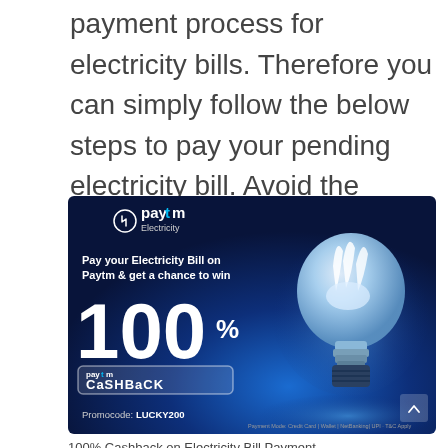payment process for electricity bills. Therefore you can simply follow the below steps to pay your pending electricity bill. Avoid the additional late fees by paying online via Paytm from the comfort of your home or office in minutes.
[Figure (photo): Paytm Electricity advertisement banner on dark blue background showing '100% Paytm Cashback' offer for paying electricity bills, with a glowing light bulb image, Promocode: LUCKY200, and payment mode details.]
100% Cashback on Electricity Bill Payment